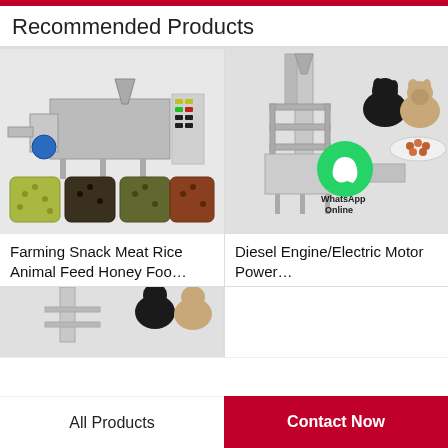Recommended Products
[Figure (photo): Industrial food extruder/pellet machine with control panel and sample pellets shown below]
Farming Snack Meat Rice Animal Feed Honey Foo…
[Figure (photo): Diesel Engine/Electric Motor powered pet food processing machine with dogs and pet food bowl in background, WhatsApp Online overlay]
Diesel Engine/Electric Motor Power…
[Figure (photo): Partial view of another pet food machine with dogs in background]
All Products
Contact Now